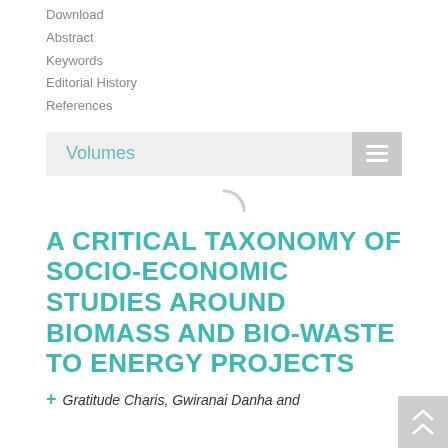Download
Abstract
Keywords
Editorial History
References
Volumes
A CRITICAL TAXONOMY OF SOCIO-ECONOMIC STUDIES AROUND BIOMASS AND BIO-WASTE TO ENERGY PROJECTS
Gratitude Charis, Gwiranai Danha and